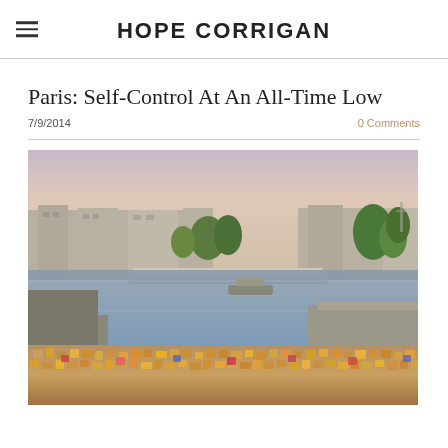HOPE CORRIGAN
Paris: Self-Control At An All-Time Low
7/9/2014
0 Comments
[Figure (photo): View of the Seine river in Paris with love locks in the foreground, a bridge in the middle ground, and Parisian buildings and trees along the riverbank. A boat is visible on the water. Photo taken at dusk with a pinkish sky.]